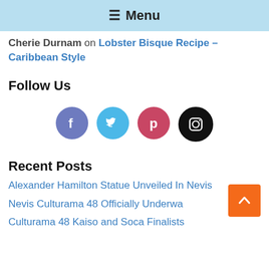☰ Menu
Cherie Durnam on Lobster Bisque Recipe – Caribbean Style
Follow Us
[Figure (infographic): Four social media icons: Facebook (purple-blue circle), Twitter (light blue circle), Pinterest (red circle), Instagram (black circle)]
Recent Posts
Alexander Hamilton Statue Unveiled In Nevis
Nevis Culturama 48 Officially Underway
Culturama 48 Kaiso and Soca Finalists